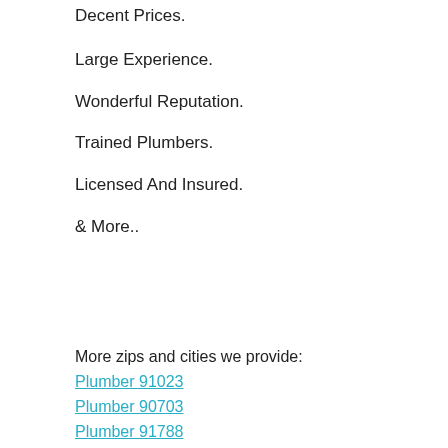Decent Prices.
Large Experience.
Wonderful Reputation.
Trained Plumbers.
Licensed And Insured.
& More..
More zips and cities we provide:
Plumber 91023
Plumber 90703
Plumber 91788
Plumber 91298